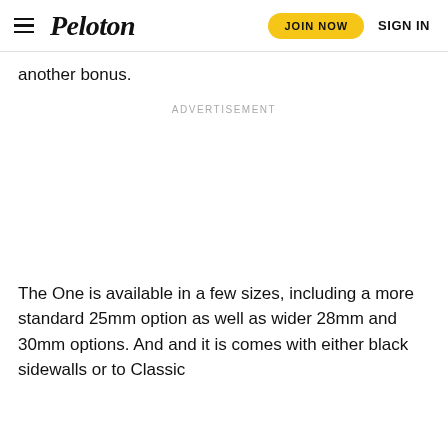Peloton — JOIN NOW  SIGN IN
another bonus.
ADVERTISEMENT
The One is available in a few sizes, including a more standard 25mm option as well as wider 28mm and 30mm options. And and it is comes with either black sidewalls or to Classic